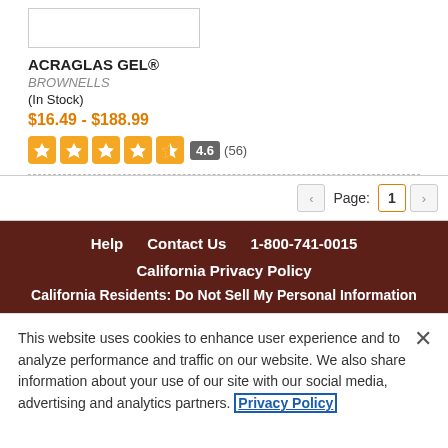[Figure (other): Product image placeholder box (white rectangle with border)]
ACRAGLAS GEL®
BROWNELLS
(In Stock)
$16.49 - $188.99
4.6 (56)
Page: 1
Help   Contact Us   1-800-741-0015
California Privacy Policy
California Residents: Do Not Sell My Personal Information
This website uses cookies to enhance user experience and to analyze performance and traffic on our website. We also share information about your use of our site with our social media, advertising and analytics partners. Privacy Policy